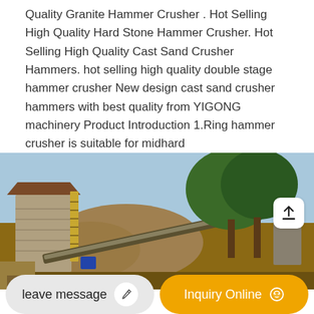Quality Granite Hammer Crusher . Hot Selling High Quality Hard Stone Hammer Crusher. Hot Selling High Quality Cast Sand Crusher Hammers. hot selling high quality double stage hammer crusher New design cast sand crusher hammers with best quality from YIGONG machinery Product Introduction 1.Ring hammer crusher is suitable for midhard
[Figure (photo): Outdoor industrial stone crushing facility with machinery, conveyor belts, rock piles, and trees in the background under a blue sky.]
leave message
Inquiry Online